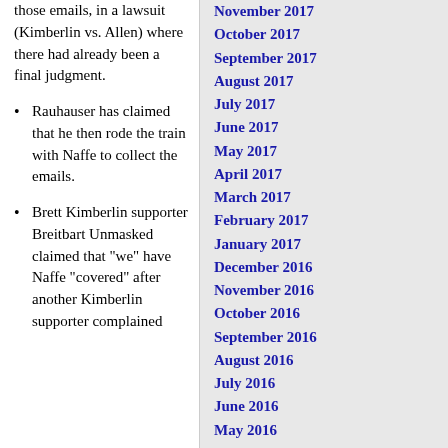those emails, in a lawsuit (Kimberlin vs. Allen) where there had already been a final judgment.
Rauhauser has claimed that he then rode the train with Naffe to collect the emails.
Brett Kimberlin supporter Breitbart Unmasked claimed that "we" have Naffe "covered" after another Kimberlin supporter complained
November 2017
October 2017
September 2017
August 2017
July 2017
June 2017
May 2017
April 2017
March 2017
February 2017
January 2017
December 2016
November 2016
October 2016
September 2016
August 2016
July 2016
June 2016
May 2016
April 2016
March 2016
February 2016
January 2016
December 2015
November 2015
October 2015
September 2015
August 2015
July 2015
June 2015
May 2015
April 2015